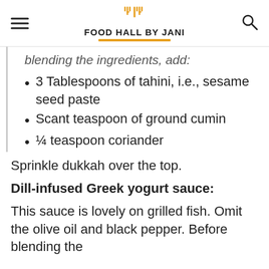FOOD HALL BY JANI
blending the ingredients, add:
3 Tablespoons of tahini, i.e., sesame seed paste
Scant teaspoon of ground cumin
¼ teaspoon coriander
Sprinkle dukkah over the top.
Dill-infused Greek yogurt sauce:
This sauce is lovely on grilled fish. Omit the olive oil and black pepper. Before blending the